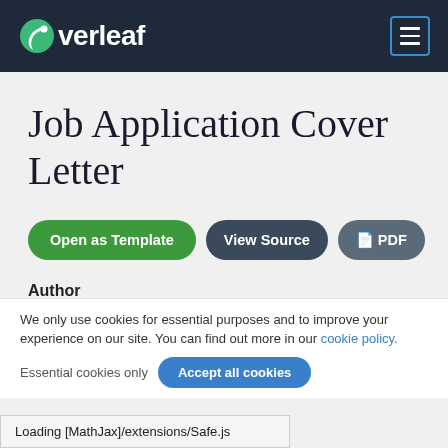Overleaf
Job Application Cover Letter
[Figure (other): Three buttons: 'Open as Template' (green), 'View Source' (dark gray), 'PDF' (gray)]
Author
Rajib Das Bhagat
We only use cookies for essential purposes and to improve your experience on our site. You can find out more in our cookie policy.
Essential cookies only   Accept all cookies
Loading [MathJax]/extensions/Safe.js